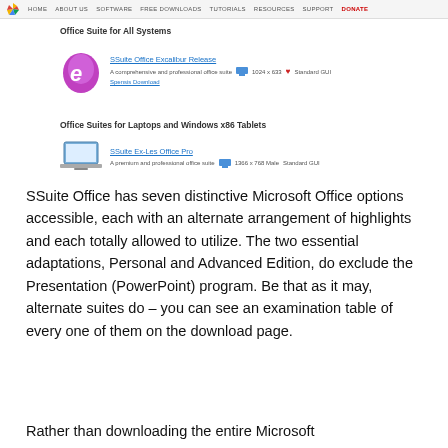HOME | ABOUT US | SOFTWARE | FREE DOWNLOADS | TUTORIALS | RESOURCES | SUPPORT | DONATE
Office Suite for All Systems
[Figure (screenshot): SSuite Office Excalibur Release product listing with purple E logo, screen icon, heart icon, 1024 x 633, Standard GUI, Spensis Download link]
Office Suites for Laptops and Windows x86 Tablets
[Figure (screenshot): SSuite Ex-Les Office Pro product listing with laptop image, screen icon, 1366 x 768 Male, Standard GUI]
SSuite Office has seven distinctive Microsoft Office options accessible, each with an alternate arrangement of highlights and each totally allowed to utilize. The two essential adaptations, Personal and Advanced Edition, do exclude the Presentation (PowerPoint) program. Be that as it may, alternate suites do – you can see an examination table of every one of them on the download page.
Rather than downloading the entire Microsoft